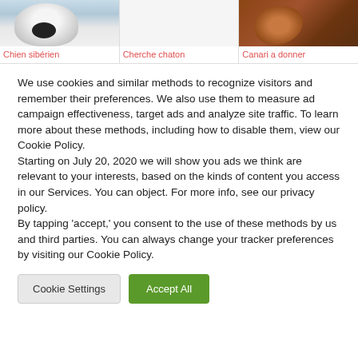[Figure (photo): Photo of a Siberian husky dog, white and grey fur, close-up of face]
Chien sibérien
[Figure (photo): Blank/empty image placeholder for kitten search listing]
Cherche chaton
[Figure (photo): Photo of a canary or small bird, brown/orange coloring]
Canari a donner
We use cookies and similar methods to recognize visitors and remember their preferences. We also use them to measure ad campaign effectiveness, target ads and analyze site traffic. To learn more about these methods, including how to disable them, view our Cookie Policy.
Starting on July 20, 2020 we will show you ads we think are relevant to your interests, based on the kinds of content you access in our Services. You can object. For more info, see our privacy policy.
By tapping 'accept,' you consent to the use of these methods by us and third parties. You can always change your tracker preferences by visiting our Cookie Policy.
Cookie Settings
Accept All